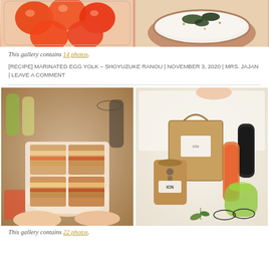[Figure (photo): Two food photos side by side: left shows marinated orange egg yolks in a glass container, right shows rice with toppings in a wooden bowl]
This gallery contains 14 photos.
[RECIPE] MARINATED EGG YOLK – SHOYUZUKE RANOU | NOVEMBER 3, 2020 | MRS. JAJAN | LEAVE A COMMENT
[Figure (photo): Two food/lifestyle photos side by side: left shows sandwiches held in hands with drinks in background, right shows packaged food products with drinks (ICN brand)]
This gallery contains 22 photos.